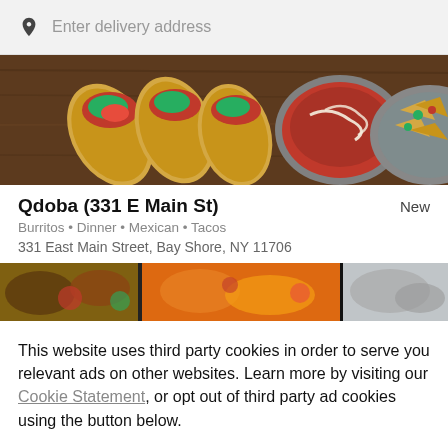[Figure (screenshot): Search bar with location pin icon and placeholder text 'Enter delivery address' on grey background]
[Figure (photo): Top-down food photo showing tacos with colorful toppings, a bowl of sauce with cream drizzle, and nachos on a wooden surface]
Qdoba (331 E Main St)
New
Burritos • Dinner • Mexican • Tacos
331 East Main Street, Bay Shore, NY 11706
[Figure (photo): Horizontal strip of food photos showing various Mexican dishes]
This website uses third party cookies in order to serve you relevant ads on other websites. Learn more by visiting our Cookie Statement, or opt out of third party ad cookies using the button below.
OPT OUT
GOT IT